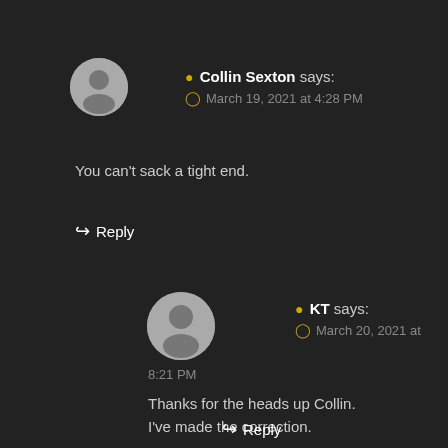Collin Sexton says: March 19, 2021 at 4:28 PM
You can't sack a tight end.
↪ Reply
KT says: March 20, 2021 at 8:21 PM
Thanks for the heads up Collin. I've made the correction.
↪ Reply